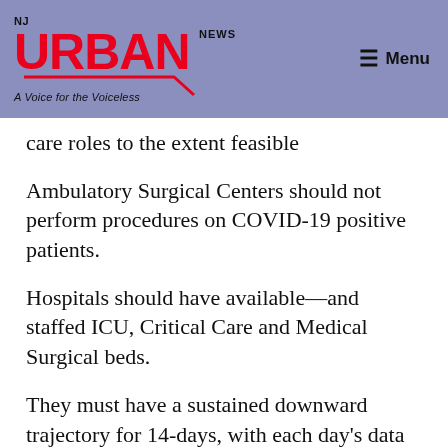NJ URBAN NEWS — A Voice for the Voiceless — Menu
care roles to the extent feasible
Ambulatory Surgical Centers should not perform procedures on COVID-19 positive patients.
Hospitals should have available—and staffed ICU, Critical Care and Medical Surgical beds.
They must have a sustained downward trajectory for 14-days, with each day's data